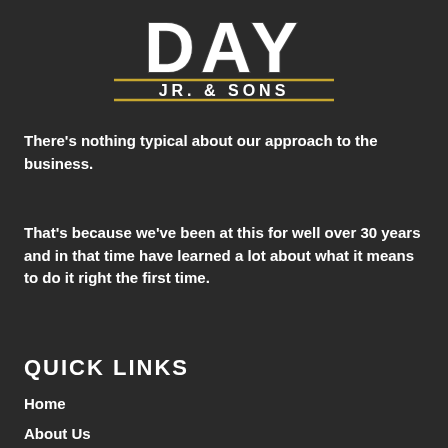[Figure (logo): DAY Jr. & Sons logo with distressed white bold text 'DAY' and subtitle 'JR. & SONS' with gold horizontal rules]
There's nothing typical about our approach to the business.
That's because we've been at this for well over 30 years and in that time have learned a lot about what it means to do it right the first time.
QUICK LINKS
Home
About Us
Wood Harvesting
Lot Clearing
Trucking
Firewood